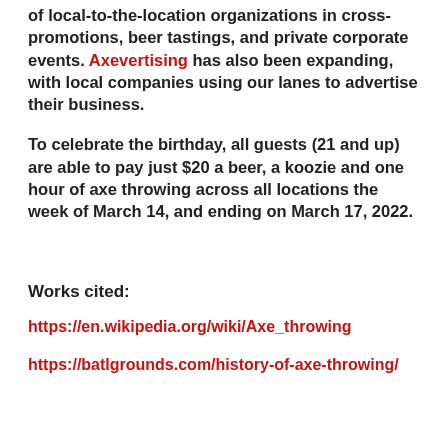of local-to-the-location organizations in cross-promotions, beer tastings, and private corporate events. Axevertising has also been expanding, with local companies using our lanes to advertise their business.
To celebrate the birthday, all guests (21 and up) are able to pay just $20 a beer, a koozie and one hour of axe throwing across all locations the week of March 14, and ending on March 17, 2022.
Works cited:
https://en.wikipedia.org/wiki/Axe_throwing
https://batlgrounds.com/history-of-axe-throwing/